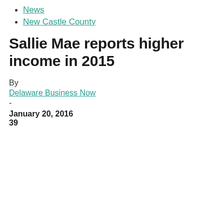News
New Castle County
Sallie Mae reports higher income in 2015
By
Delaware Business Now
-
January 20, 2016
39